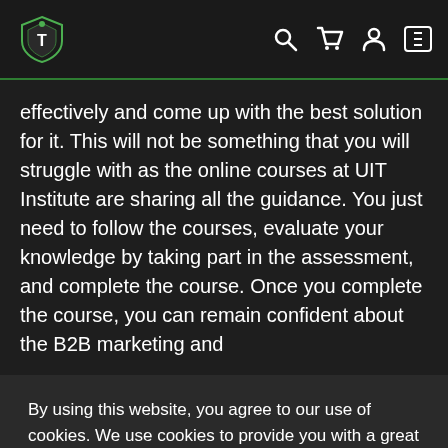UIT Institute navigation bar with logo, search, cart, account, and menu icons
effectively and come up with the best solution for it. This will not be something that you will struggle with as the online courses at UIT Institute are sharing all the guidance. You just need to follow the courses, evaluate your knowledge by taking part in the assessment, and complete the course. Once you complete the course, you can remain confident about the B2B marketing and
By using this website, you agree to our use of cookies. We use cookies to provide you with a great experience and to help our website run effectively.
Okay, thanks